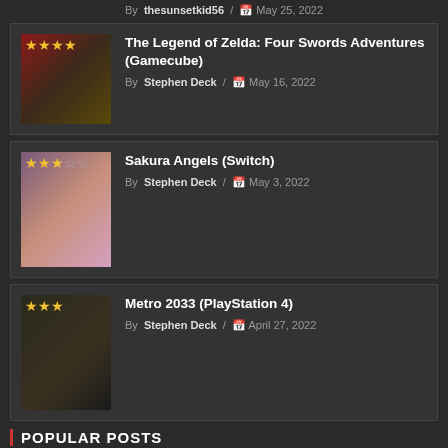By thesunsetkid56 / May 25, 2022
[Figure (photo): The Legend of Zelda: Four Swords Adventures game screenshot with 4 gold stars rating]
The Legend of Zelda: Four Swords Adventures (Gamecube)
By Stephen Deck / May 16, 2022
[Figure (photo): Sakura Angels game cover with 3 out of 5 gold stars rating]
Sakura Angels (Switch)
By Stephen Deck / May 3, 2022
[Figure (photo): Metro 2033 game screenshot with 3 gold stars rating]
Metro 2033 (PlayStation 4)
By Stephen Deck / April 27, 2022
POPULAR POSTS